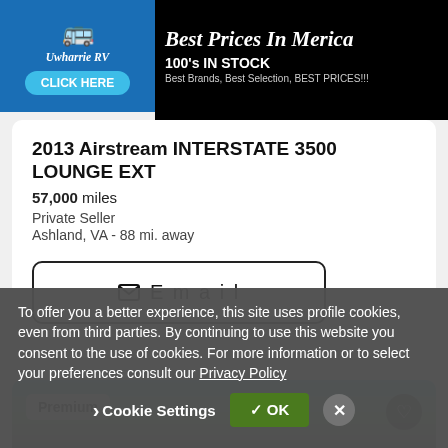[Figure (screenshot): Advertisement banner for Uwharrie RV with logo, 'CLICK HERE' button, and text 'Best Prices In Merica, 100's IN STOCK, Best Brands, Best Selection, BEST PRICES!!!']
2013 Airstream INTERSTATE 3500 LOUNGE EXT
57,000 miles
Private Seller
Ashland, VA - 88 mi. away
Email
[Figure (photo): Partial vehicle listing photo with 'Premium' badge overlay and heart/favorite button, showing trees and building in background]
To offer you a better experience, this site uses profile cookies, even from third parties. By continuing to use this website you consent to the use of cookies. For more information or to select your preferences consult our Privacy Policy
Cookie Settings
OK